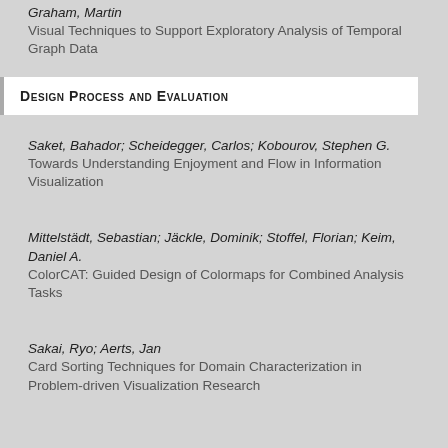Graham, Martin
Visual Techniques to Support Exploratory Analysis of Temporal Graph Data
Design Process and Evaluation
Saket, Bahador; Scheidegger, Carlos; Kobourov, Stephen G.
Towards Understanding Enjoyment and Flow in Information Visualization
Mittelstädt, Sebastian; Jäckle, Dominik; Stoffel, Florian; Keim, Daniel A.
ColorCAT: Guided Design of Colormaps for Combined Analysis Tasks
Sakai, Ryo; Aerts, Jan
Card Sorting Techniques for Domain Characterization in Problem-driven Visualization Research